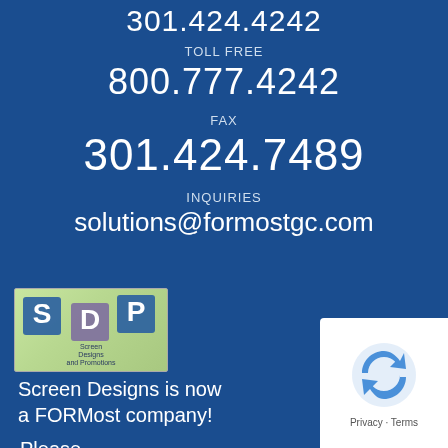301.424.4242
TOLL FREE
800.777.4242
FAX
301.424.7489
INQUIRIES
solutions@formostgc.com
[Figure (logo): Screen Designs and Promotions logo - SDP initials on green background]
Screen Designs is now a FORMost company!
Please contact
[Figure (logo): reCAPTCHA logo with Privacy and Terms text]